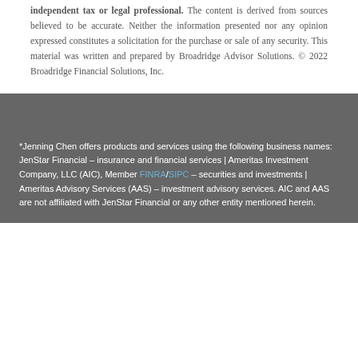independent tax or legal professional. The content is derived from sources believed to be accurate. Neither the information presented nor any opinion expressed constitutes a solicitation for the purchase or sale of any security. This material was written and prepared by Broadridge Advisor Solutions. © 2022 Broadridge Financial Solutions, Inc.
*Jenning Chen offers products and services using the following business names: JenStar Financial – insurance and financial services | Ameritas Investment Company, LLC (AIC), Member FINRA/SIPC – securities and investments | Ameritas Advisory Services (AAS) – investment advisory services. AIC and AAS are not affiliated with JenStar Financial or any other entity mentioned herein.